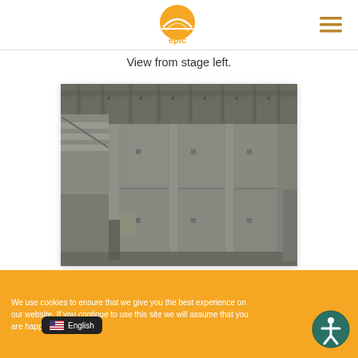[Figure (logo): Epic company logo - orange/yellow sun rising over a horizon with text 'epic']
[Figure (other): Hamburger menu icon (three horizontal lines) in orange/brown color]
View from stage left.
[Figure (photo): Construction photo showing interior concrete structure viewed from stage left - concrete columns, ceiling beams, and concrete wall panels forming a grid pattern, staircase visible on the upper left]
We use cookies to ensure that we give you the best experience on our website. If you continue to use this site we will assume that you are happy with it.
[Figure (other): English language selector button with US flag emoji]
[Figure (other): Accessibility (wheelchair) icon button]